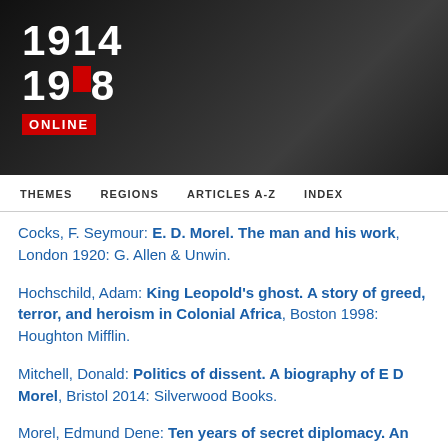[Figure (logo): 1914-1918 Online website logo with years stacked and red ONLINE box below, on dark grey banner background]
THEMES   REGIONS   ARTICLES A-Z   INDEX
Cocks, F. Seymour: E. D. Morel. The man and his work, London 1920: G. Allen & Unwin.
Hochschild, Adam: King Leopold's ghost. A story of greed, terror, and heroism in Colonial Africa, Boston 1998: Houghton Mifflin.
Mitchell, Donald: Politics of dissent. A biography of E D Morel, Bristol 2014: Silverwood Books.
Morel, Edmund Dene: Ten years of secret diplomacy. An unheeded warning (Reprint of 'Morocco in...